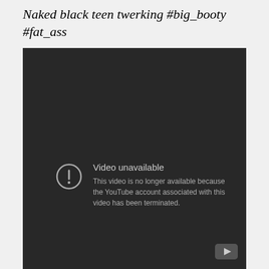Naked black teen twerking #big_booty #fat_ass
[Figure (screenshot): Embedded YouTube video player showing an error state with dark background. Text reads 'Video unavailable' and 'This video is no longer available because the YouTube account associated with this video has been terminated.' An exclamation mark icon in a circle is shown to the left of the error text. A YouTube logo button is visible in the bottom right corner.]